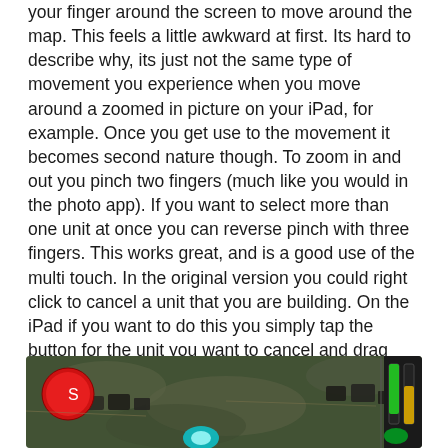your finger around the screen to move around the map. This feels a little awkward at first. Its hard to describe why, its just not the same type of movement you experience when you move around a zoomed in picture on your iPad, for example. Once you get use to the movement it becomes second nature though. To zoom in and out you pinch two fingers (much like you would in the photo app). If you want to select more than one unit at once you can reverse pinch with three fingers. This works great, and is a good use of the multi touch. In the original version you could right click to cancel a unit that you are building. On the iPad if you want to do this you simply tap the button for the unit you want to cancel and drag your finger over. I thought this was a clever way to do this, and it worked well.
[Figure (screenshot): Screenshot of a game interface showing a map view with game units, a red circular button with an 'S' icon in the top left, green/yellow status bars on the right side, and various game elements on a dark terrain map.]